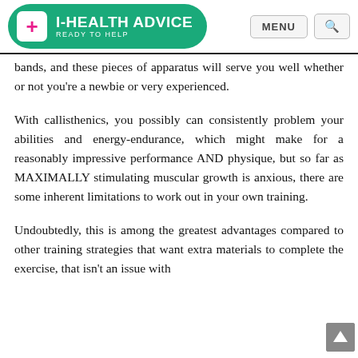I-HEALTH ADVICE — READY TO HELP
bands, and these pieces of apparatus will serve you well whether or not you're a newbie or very experienced.
With callisthenics, you possibly can consistently problem your abilities and energy-endurance, which might make for a reasonably impressive performance AND physique, but so far as MAXIMALLY stimulating muscular growth is anxious, there are some inherent limitations to work out in your own training.
Undoubtedly, this is among the greatest advantages compared to other training strategies that want extra materials to complete the exercise, that isn't an issue with